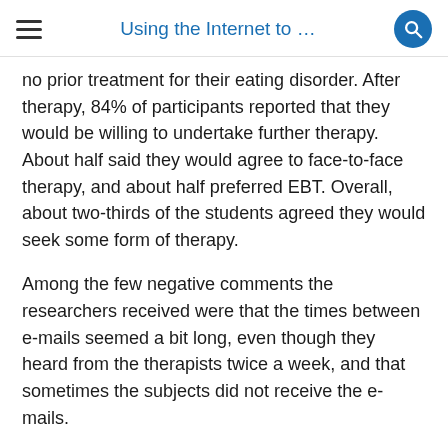Using the Internet to …
no prior treatment for their eating disorder. After therapy, 84% of participants reported that they would be willing to undertake further therapy. About half said they would agree to face-to-face therapy, and about half preferred EBT. Overall, about two-thirds of the students agreed they would seek some form of therapy.
Among the few negative comments the researchers received were that the times between e-mails seemed a bit long, even though they heard from the therapists twice a week, and that sometimes the subjects did not receive the e-mails.
Dr. Robinson said some important further issues about e-mail treatment will need to be addressed. For example, there may be malpractice issues and challenges such as liability and insurance